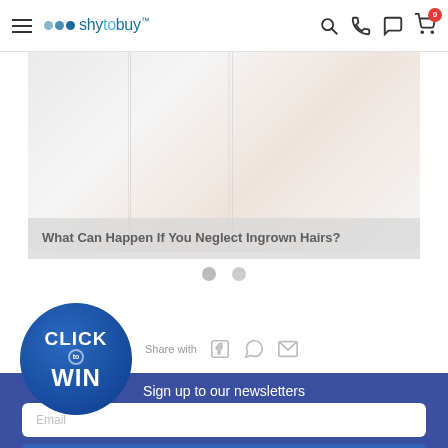shytobuy
[Figure (photo): Blurred lifestyle photo with vertical panel divisions, light tones pinkish/grey]
What Can Happen If You Neglect Ingrown Hairs?
[Figure (infographic): Circular dark blue badge: CLICK to WIN]
Share with
Sign up to our newsletters
Email